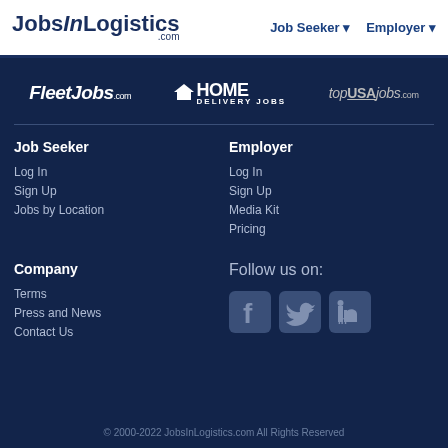JobsInLogistics.com — Job Seeker | Employer
[Figure (logo): FleetJobs.com, HOME DELIVERY JOBS, topUSAjobs.com partner logos on dark navy background]
Job Seeker
Log In
Sign Up
Jobs by Location
Employer
Log In
Sign Up
Media Kit
Pricing
Company
Terms
Press and News
Contact Us
Follow us on:
[Figure (illustration): Social media icons: Facebook, Twitter, LinkedIn]
© 2000-2022 JobsInLogistics.com All Rights Reserved